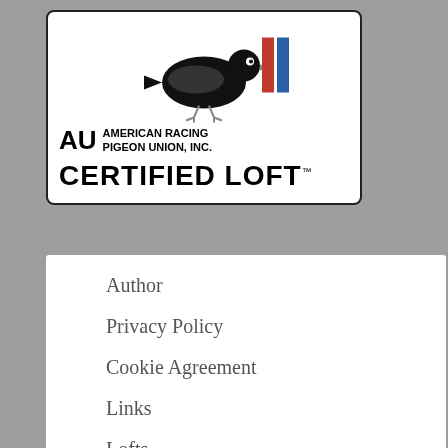[Figure (logo): American Racing Pigeon Union, Inc. AU Certified Loft logo with pigeon graphic, red and blue color bars]
Author
Privacy Policy
Cookie Agreement
Links
Lofts
LONETREE LOFTS
FAQ
Birds
Prendre Soin D'un Chien